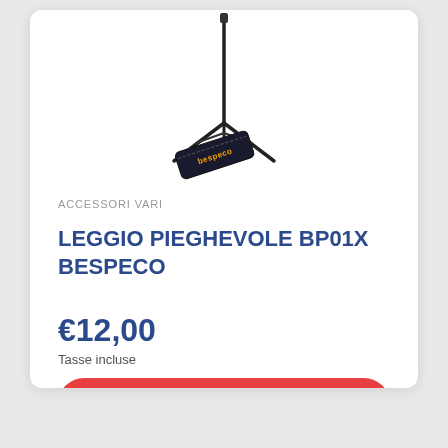[Figure (photo): Product photo of a folding music stand (leggio pieghevole) with a carrying bag, tripod legs, black metal frame, with Bespeco branding on the bag.]
ACCESSORI VARI
LEGGIO PIEGHEVOLE BP01X BESPECO
€12,00
Tasse incluse
AGGIUNGI AL CARRELLO